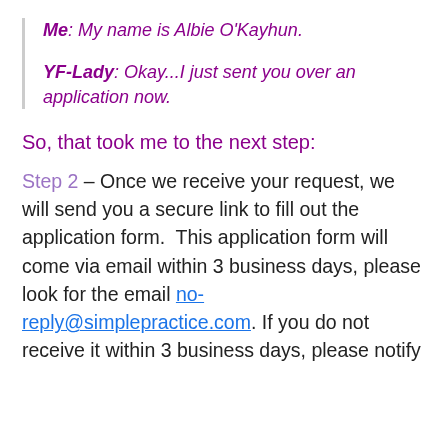Me: My name is Albie O'Kayhun.
YF-Lady: Okay...I just sent you over an application now.
So, that took me to the next step:
Step 2 – Once we receive your request, we will send you a secure link to fill out the application form.  This application form will come via email within 3 business days, please look for the email no-reply@simplepractice.com. If you do not receive it within 3 business days, please notify